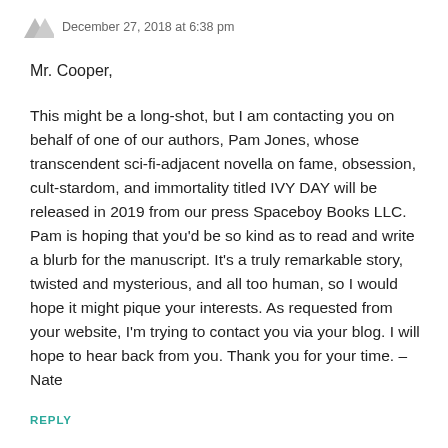December 27, 2018 at 6:38 pm
Mr. Cooper,
This might be a long-shot, but I am contacting you on behalf of one of our authors, Pam Jones, whose transcendent sci-fi-adjacent novella on fame, obsession, cult-stardom, and immortality titled IVY DAY will be released in 2019 from our press Spaceboy Books LLC. Pam is hoping that you'd be so kind as to read and write a blurb for the manuscript. It's a truly remarkable story, twisted and mysterious, and all too human, so I would hope it might pique your interests. As requested from your website, I'm trying to contact you via your blog. I will hope to hear back from you. Thank you for your time. – Nate
REPLY